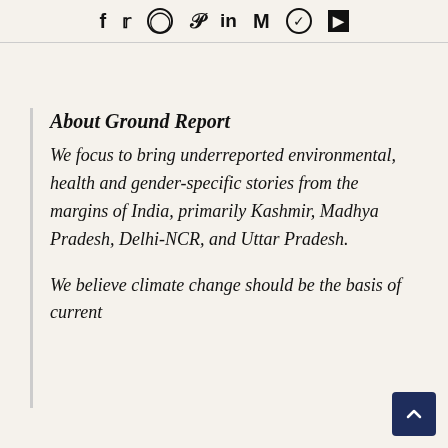f  𝕏  ○  𝒫  in  M  ⊙  ▶
About Ground Report
We focus to bring underreported environmental, health and gender-specific stories from the margins of India, primarily Kashmir, Madhya Pradesh, Delhi-NCR, and Uttar Pradesh.
We believe climate change should be the basis of current